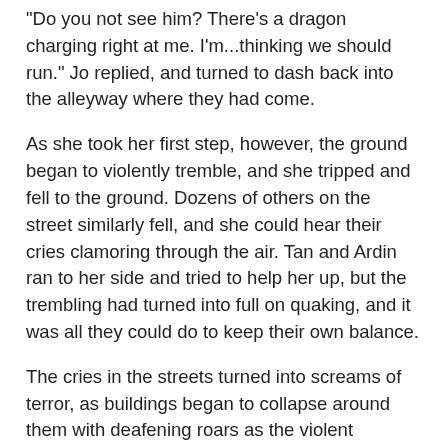"Do you not see him? There's a dragon charging right at me. I'm...thinking we should run." Jo replied, and turned to dash back into the alleyway where they had come.
As she took her first step, however, the ground began to violently tremble, and she tripped and fell to the ground. Dozens of others on the street similarly fell, and she could hear their cries clamoring through the air. Tan and Ardin ran to her side and tried to help her up, but the trembling had turned into full on quaking, and it was all they could do to keep their own balance.
The cries in the streets turned into screams of terror, as buildings began to collapse around them with deafening roars as the violent earthquake continued. Jo held desperately onto Ardin and Tan, one hand grasping an arm of each, as they all tried to support